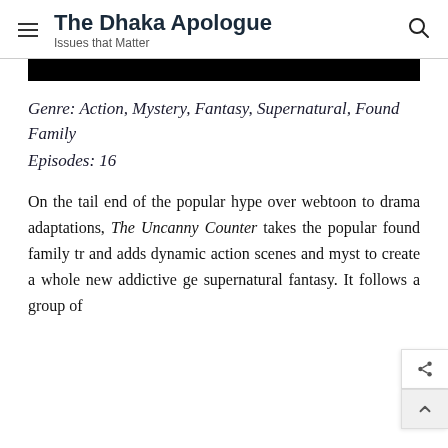The Dhaka Apologue — Issues that Matter
[Figure (other): Black image bar below header]
Genre: Action, Mystery, Fantasy, Supernatural, Found Family
Episodes: 16
On the tail end of the popular hype over webtoon to drama adaptations, The Uncanny Counter takes the popular found family tr and adds dynamic action scenes and myste to create a whole new addictive ge supernatural fantasy. It follows a group of